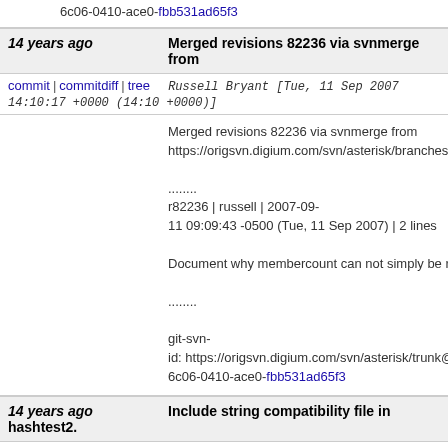6c06-0410-ace0-fbb531ad65f3
14 years ago | Merged revisions 82236 via svnmerge from
commit | commitdiff | tree   Russell Bryant [Tue, 11 Sep 2007 14:10:17 +0000 (14:10 +0000)]
Merged revisions 82236 via svnmerge from https://origsvn.digium.com/svn/asterisk/branches/1

........
r82236 | russell | 2007-09-11 09:09:43 -0500 (Tue, 11 Sep 2007) | 2 lines

Document why membercount can not simply be re

........

git-svn-id: https://origsvn.digium.com/svn/asterisk/trunk@6c06-0410-ace0-fbb531ad65f3
14 years ago | Include string compatibility file in hashtest2.
commit | commitdiff | tree   Joshua Colp [Tue, 11 Sep 2007 13:46:08 +0000 (13:46 +0000)]
Include string compatibility file in hashtest2